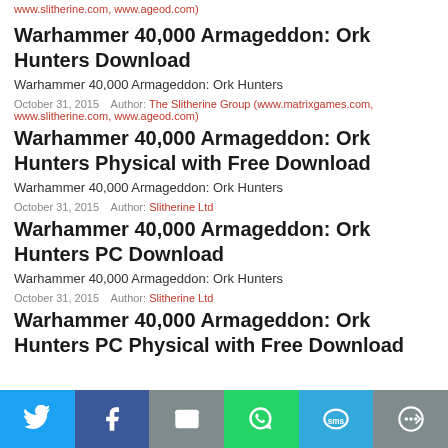www.slitherine.com, www.ageod.com)
Warhammer 40,000 Armageddon: Ork Hunters Download
Warhammer 40,000 Armageddon: Ork Hunters
October 31, 2015   Author: The Slitherine Group (www.matrixgames.com, www.slitherine.com, www.ageod.com)
Warhammer 40,000 Armageddon: Ork Hunters Physical with Free Download
Warhammer 40,000 Armageddon: Ork Hunters
October 31, 2015   Author: Slitherine Ltd
Warhammer 40,000 Armageddon: Ork Hunters PC Download
Warhammer 40,000 Armageddon: Ork Hunters
October 31, 2015   Author: Slitherine Ltd
Warhammer 40,000 Armageddon: Ork Hunters PC Physical with Free Download
[Figure (infographic): Social sharing bar with Twitter, Facebook, Email, WhatsApp, SMS, and More buttons]